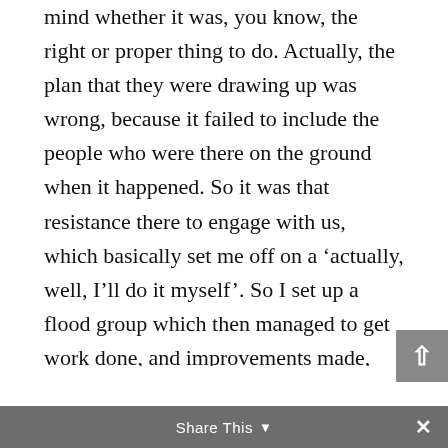mind whether it was, you know, the right or proper thing to do. Actually, the plan that they were drawing up was wrong, because it failed to include the people who were there on the ground when it happened. So it was that resistance there to engage with us, which basically set me off on a ‘actually, well, I’ll do it myself’. So I set up a flood group which then managed to get work done, and improvements made, and a communication channel in place. But it was very much working, not only not just been ignored, but being worked against.
And it was that arrogance of the system.
And I think the arrogance of the system at